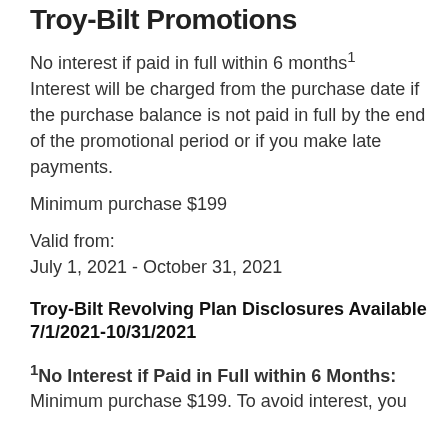Troy-Bilt Promotions
No interest if paid in full within 6 months¹ Interest will be charged from the purchase date if the purchase balance is not paid in full by the end of the promotional period or if you make late payments.
Minimum purchase $199
Valid from:
July 1, 2021 - October 31, 2021
Troy-Bilt Revolving Plan Disclosures Available 7/1/2021-10/31/2021
¹No Interest if Paid in Full within 6 Months: Minimum purchase $199. To avoid interest, you